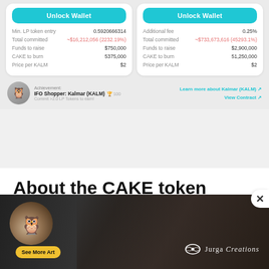[Figure (screenshot): Two IFO wallet cards side by side with Unlock Wallet buttons and token sale details for Kalmar (KALM)]
Min. LP token entry: 0.5920666314
Total committed: ~$16,212,056 (2232.19%)
Funds to raise: $750,000
CAKE to burn: 5375,000
Price per KALM: $2
Additional fee: 0.25%
Total committed: ~$733,673,616 (45293.1%)
Funds to raise: $2,900,000
CAKE to burn: 51,250,000
Price per KALM: $2
Achievement: IFO Shopper: Kalmar (KALM) 🏆 100
Commit >2.0 LP Tokens to earn!
Learn more about Kalmar (KALM)
View Contract
About the CAKE token
The primary purpose of CAKE is to incentivize the liquidity...
[Figure (photo): Advertisement banner for Jurga Creations showing an owl and a bearded man illustration with See More Art button]